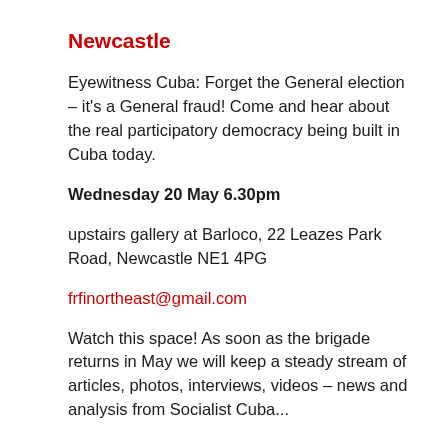Newcastle
Eyewitness Cuba: Forget the General election – it's a General fraud! Come and hear about the real participatory democracy being built in Cuba today.
Wednesday 20 May 6.30pm
upstairs gallery at Barloco, 22 Leazes Park Road, Newcastle NE1 4PG
frfinortheast@gmail.com
Watch this space! As soon as the brigade returns in May we will keep a steady stream of articles, photos, interviews, videos – news and analysis from Socialist Cuba...